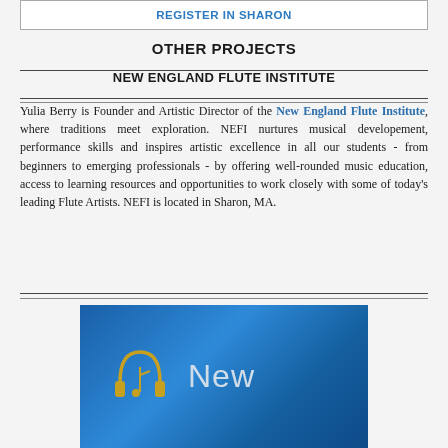REGISTER IN SHARON
OTHER PROJECTS
NEW ENGLAND FLUTE INSTITUTE
Yulia Berry is Founder and Artistic Director of the New England Flute Institute, where traditions meet exploration. NEFI nurtures musical developement, performance skills and inspires artistic excellence in all our students - from beginners to emerging professionals - by offering well-rounded music education, access to learning resources and opportunities to work closely with some of today’s leading Flute Artists. NEFI is located in Sharon, MA.
[Figure (screenshot): Blue gradient banner image with a golden music note/headphone logo icon on the left and the word 'New' in light gray text on the right]